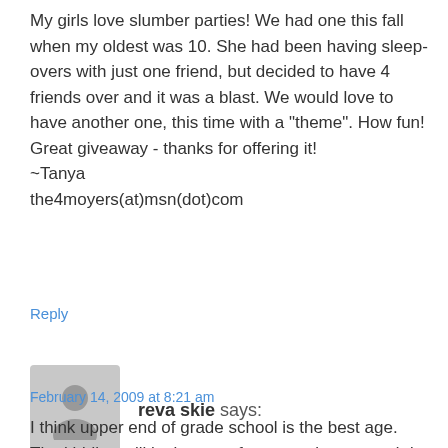My girls love slumber parties! We had one this fall when my oldest was 10. She had been having sleep-overs with just one friend, but decided to have 4 friends over and it was a blast. We would love to have another one, this time with a "theme". How fun! Great giveaway - thanks for offering it!
~Tanya
the4moyers(at)msn(dot)com
Reply
reva skie says:
February 14, 2009 at 8:21 am
I think upper end of grade school is the best age. The kiddles still look to you for entertainment and do not